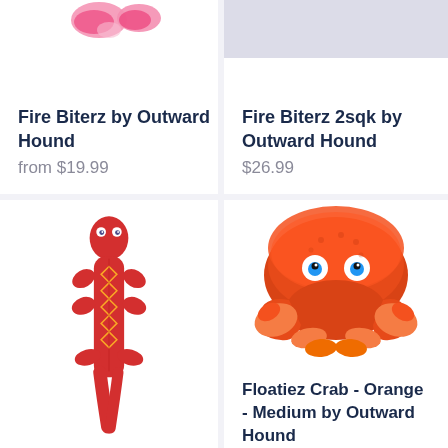[Figure (photo): Pink toy pieces partially visible at top of left product card]
Fire Biterz by Outward Hound
from $19.99
[Figure (photo): Gray/white background, top portion of product image for Fire Biterz 2sqk]
Fire Biterz 2sqk by Outward Hound
$26.99
[Figure (photo): Red lizard-shaped squeaky dog toy with yellow diamond patterns and cartoon eyes]
[Figure (photo): Orange and red crab plush dog toy with cartoon eyes, Floatiez Crab Medium]
Floatiez Crab - Orange - Medium by Outward Hound